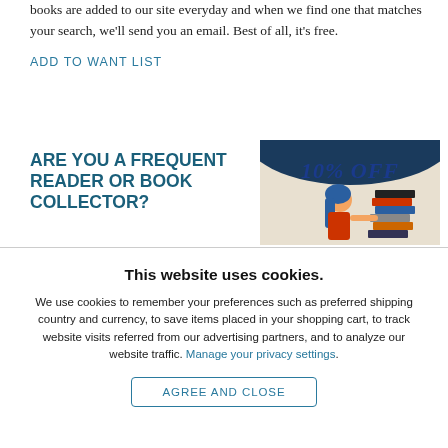books are added to our site everyday and when we find one that matches your search, we'll send you an email. Best of all, it's free.
ADD TO WANT LIST
ARE YOU A FREQUENT READER OR BOOK COLLECTOR?
[Figure (illustration): Promotional illustration showing a woman with blue hair holding books, with '10% OFF' text displayed on a banner above.]
This website uses cookies.
We use cookies to remember your preferences such as preferred shipping country and currency, to save items placed in your shopping cart, to track website visits referred from our advertising partners, and to analyze our website traffic. Manage your privacy settings.
AGREE AND CLOSE